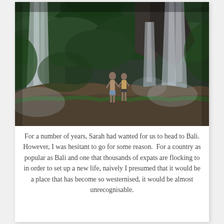[Figure (photo): Two people standing on a mossy rocky ledge in front of tall tropical waterfalls surrounded by lush green jungle vegetation in Bali.]
For a number of years, Sarah had wanted for us to head to Bali. However, I was hesitant to go for some reason.  For a country as popular as Bali and one that thousands of expats are flocking to in order to set up a new life, naively I presumed that it would be a place that has become so westernised, it would be almost unrecognisable.